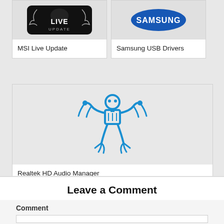[Figure (logo): MSI Live Update app icon - black rounded rectangle with 'LIVE UPDATE' text in white]
MSI Live Update
[Figure (logo): Samsung logo - blue oval with Samsung text]
Samsung USB Drivers
[Figure (logo): Realtek HD Audio Manager icon - blue circuit board humanoid figure on grey background]
Realtek HD Audio Manager
Leave a Comment
Comment